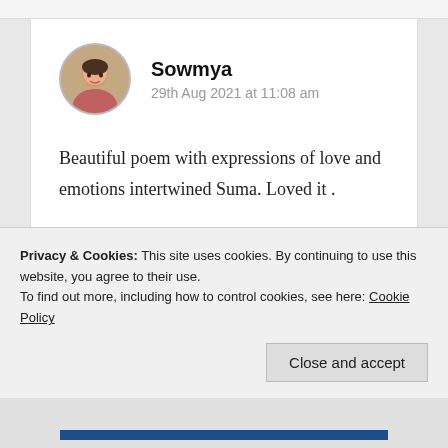Sowmya
29th Aug 2021 at 11:08 am
Beautiful poem with expressions of love and emotions intertwined Suma. Loved it .
★ Liked by 1 person
Log in to Reply
Privacy & Cookies: This site uses cookies. By continuing to use this website, you agree to their use.
To find out more, including how to control cookies, see here: Cookie Policy
Close and accept